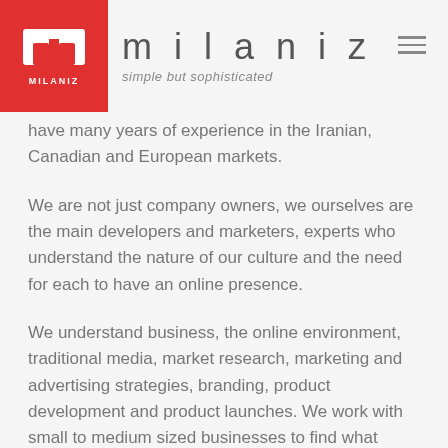milaniz — simple but sophisticated
have many years of experience in the Iranian, Canadian and European markets.
We are not just company owners, we ourselves are the main developers and marketers, experts who understand the nature of our culture and the need for each to have an online presence.
We understand business, the online environment, traditional media, market research, marketing and advertising strategies, branding, product development and product launches. We work with small to medium sized businesses to find what works for their products, services, and budget.